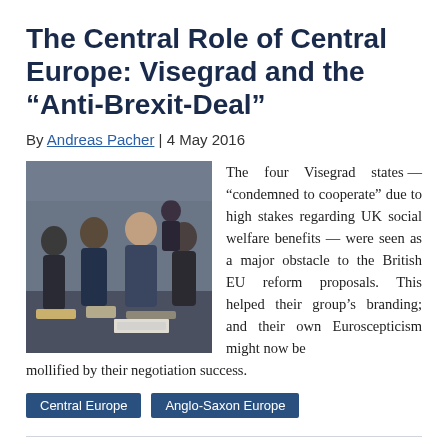The Central Role of Central Europe: Visegrad and the “Anti-Brexit-Deal”
By Andreas Pacher | 4 May 2016
[Figure (photo): Group of people in formal attire at what appears to be a political or diplomatic meeting, indoors.]
The four Visegrad states — “condemned to cooperate” due to high stakes regarding UK social welfare benefits — were seen as a major obstacle to the British EU reform proposals. This helped their group’s branding; and their own Euroscepticism might now be mollified by their negotiation success.
Central Europe
Anglo-Saxon Europe
To do relation between the United